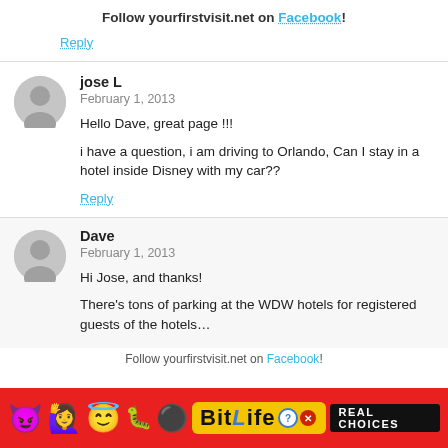Follow yourfirstvisit.net on Facebook!
Reply
jose L
February 1, 2013
Hello Dave, great page !!!

i have a question, i am driving to Orlando, Can I stay in a hotel inside Disney with my car??
Reply
Dave
February 1, 2013
Hi Jose, and thanks!

There's tons of parking at the WDW hotels for registered guests of the hotels…
[Figure (screenshot): BitLife advertisement banner with colorful emojis (devil, dancer, angel face), BitLife logo in yellow, and 'REAL CHOICES' text on black background]